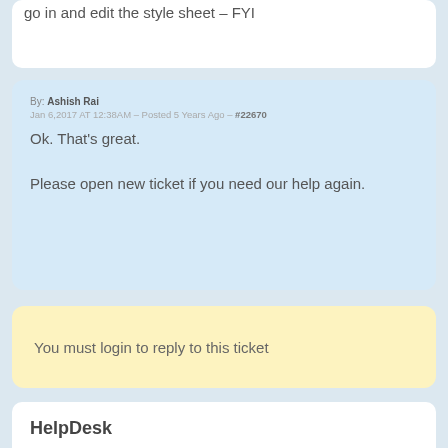go in and edit the style sheet – FYI
By: Ashish Rai
Jan 6,2017 AT 12:38AM – Posted 5 Years Ago – #22670
Ok. That's great.

Please open new ticket if you need our help again.
You must login to reply to this ticket
HelpDesk
Welcome to EventON helpdesk.

EventON is the #1 Best selling event calendar plugin for WordPress websites in envato